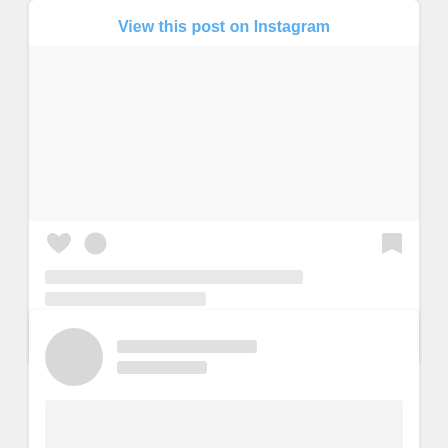[Figure (screenshot): Instagram embedded post widget showing 'View this post on Instagram' link, placeholder image area, heart/comment/bookmark icons, two grey placeholder text lines, and attribution text 'A post shared by Urbanislandz (@urbanislandz)']
A post shared by Urbanislandz (@urbanislandz)
[Figure (screenshot): Second Instagram embedded post widget (loading state) showing a circular avatar placeholder, two grey text lines, and a grey image content placeholder area below]